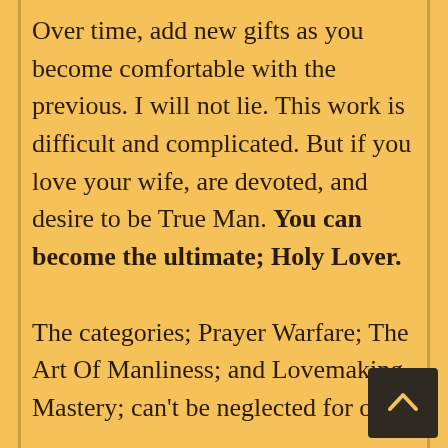Over time, add new gifts as you become comfortable with the previous. I will not lie. This work is difficult and complicated. But if you love your wife, are devoted, and desire to be True Man. You can become the ultimate; Holy Lover.

The categories; Prayer Warfare; The Art Of Manliness; and Lovemaking Mastery; can't be neglected for one over the other. As you've seen in this